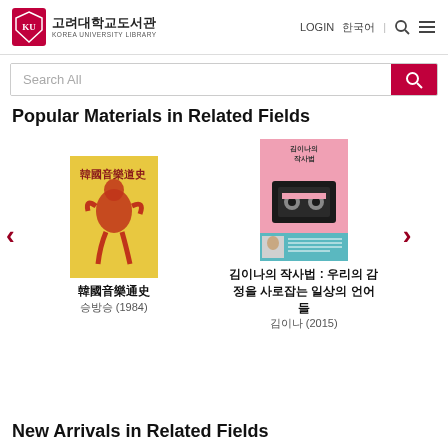고려대학교도서관 KOREA UNIVERSITY LIBRARY
Search All
Popular Materials in Related Fields
[Figure (illustration): Book cover of 韓國音樂通史 — yellow background with red ink painting of a figure playing instrument, Chinese calligraphy characters]
韓國音樂通史
승방승 (1984)
[Figure (illustration): Book cover of 김이나의 작사법 — pink background with illustration of cassette tape and small portrait photo]
김이나의 작사법 : 우리의 감정을 사로잡는 일상의 언어들
김이나 (2015)
New Arrivals in Related Fields